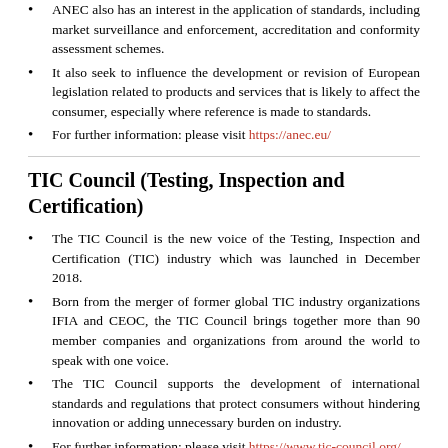ANEC also has an interest in the application of standards, including market surveillance and enforcement, accreditation and conformity assessment schemes.
It also seek to influence the development or revision of European legislation related to products and services that is likely to affect the consumer, especially where reference is made to standards.
For further information: please visit https://anec.eu/
TIC Council (Testing, Inspection and Certification)
The TIC Council is the new voice of the Testing, Inspection and Certification (TIC) industry which was launched in December 2018.
Born from the merger of former global TIC industry organizations IFIA and CEOC, the TIC Council brings together more than 90 member companies and organizations from around the world to speak with one voice.
The TIC Council supports the development of international standards and regulations that protect consumers without hindering innovation or adding unnecessary burden on industry.
For further information: please visit https://www.tic-council.org/